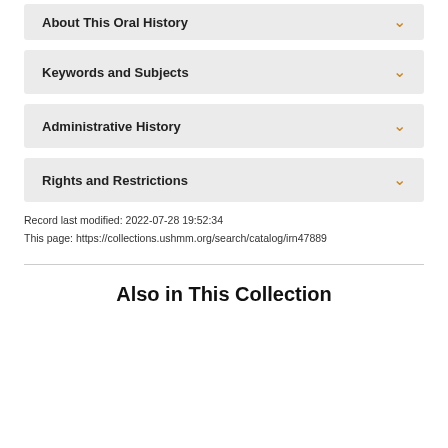About This Oral History
Keywords and Subjects
Administrative History
Rights and Restrictions
Record last modified: 2022-07-28 19:52:34
This page: https://collections.ushmm.org/search/catalog/irn47889
Also in This Collection